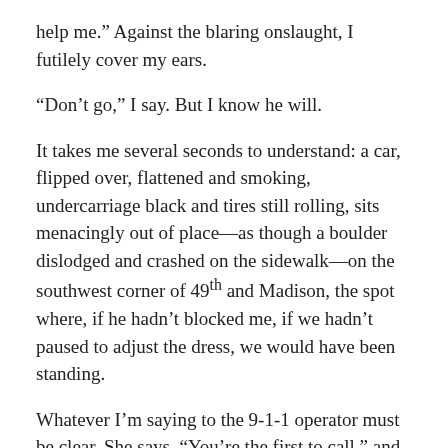help me.” Against the blaring onslaught, I futilely cover my ears.
“Don’t go,” I say. But I know he will.
It takes me several seconds to understand: a car, flipped over, flattened and smoking, undercarriage black and tires still rolling, sits menacingly out of place—as though a boulder dislodged and crashed on the sidewalk—on the southwest corner of 49th and Madison, the spot where, if he hadn’t blocked me, if we hadn’t paused to adjust the dress, we would have been standing.
Whatever I’m saying to the 9-1-1 operator must be clear. She says, “You’re the first to call,” and, “Help will be there soon.” I’m panicked that the smoking car will explode. Three bystanders hoist it so a fourth can